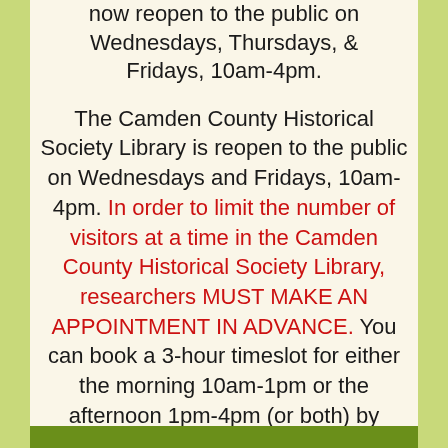now reopen to the public on Wednesdays, Thursdays, & Fridays, 10am-4pm.
The Camden County Historical Society Library is reopen to the public on Wednesdays and Fridays, 10am-4pm. In order to limit the number of visitors at a time in the Camden County Historical Society Library, researchers MUST MAKE AN APPOINTMENT IN ADVANCE. You can book a 3-hour timeslot for either the morning 10am-1pm or the afternoon 1pm-4pm (or both) by clicking the link below: